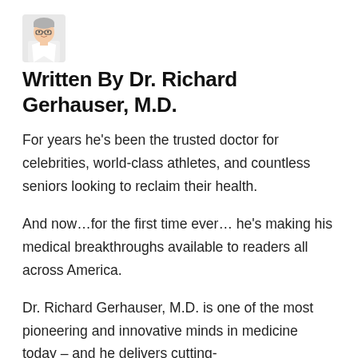[Figure (photo): Small headshot photo of Dr. Richard Gerhauser, M.D., a middle-aged man with glasses wearing a white lab coat.]
Written By Dr. Richard Gerhauser, M.D.
For years he’s been the trusted doctor for celebrities, world-class athletes, and countless seniors looking to reclaim their health.
And now…for the first time ever… he’s making his medical breakthroughs available to readers all across America.
Dr. Richard Gerhauser, M.D. is one of the most pioneering and innovative minds in medicine today – and he delivers cutting-